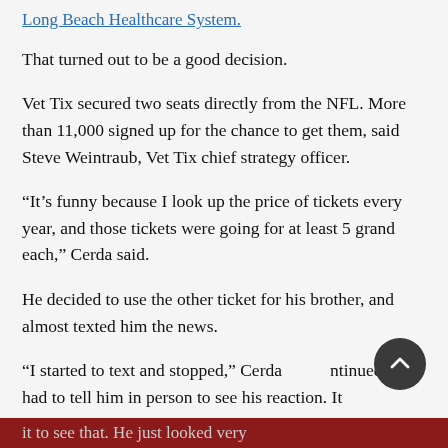Long Beach Healthcare System.
That turned out to be a good decision.
Vet Tix secured two seats directly from the NFL. More than 11,000 signed up for the chance to get them, said Steve Weintraub, Vet Tix chief strategy officer.
“It’s funny because I look up the price of tickets every year, and those tickets were going for at least 5 grand each,” Cerda said.
He decided to use the other ticket for his brother, and almost texted him the news.
“I started to text and stopped,” Cerda continued. “I had to tell him in person to see his reaction. It
it to see that. He just looked very